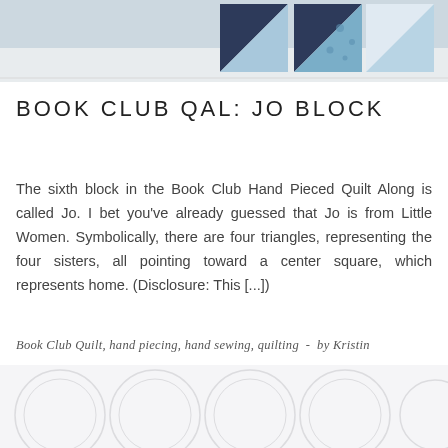[Figure (photo): Photograph of quilt blocks with blue and white triangle fabric pieces on a light background]
BOOK CLUB QAL: JO BLOCK
The sixth block in the Book Club Hand Pieced Quilt Along is called Jo. I bet you've already guessed that Jo is from Little Women. Symbolically, there are four triangles, representing the four sisters, all pointing toward a center square, which represents home. (Disclosure: This [...])
Book Club Quilt, hand piecing, hand sewing, quilting  -  by Kristin
[Figure (illustration): Decorative circles pattern in light gray at the bottom of the page]